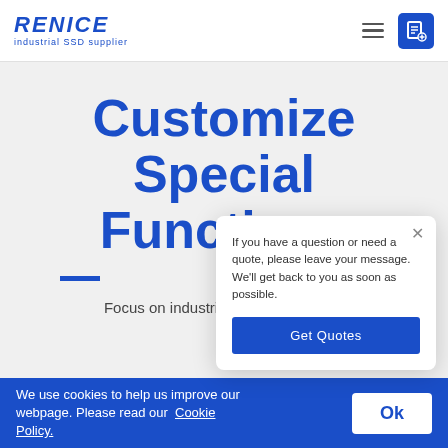[Figure (logo): RENICE logo with 'industrial SSD supplier' subtitle in blue]
Customize Special Functions
Focus on industrial and inc... cust...
If you have a question or need a quote, please leave your message. We'll get back to you as soon as possible.
Get Quotes
We use cookies to help us improve our webpage. Please read our Cookie Policy.
Ok